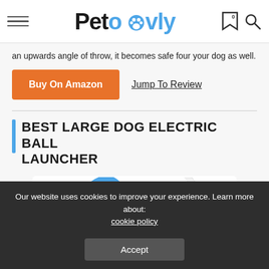Petovly
an upwards angle of throw, it becomes safe four your dog as well.
Buy On Amazon
Jump To Review
BEST LARGE DOG ELECTRIC BALL LAUNCHER
[Figure (photo): White spherical electric ball launcher with blue accent, product photo on white background]
Our website uses cookies to improve your experience. Learn more about: cookie policy
Accept